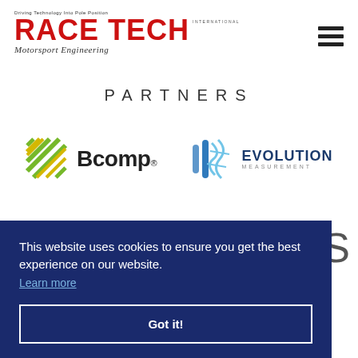[Figure (logo): Race Tech International Motorsport Engineering logo with red bold text and tagline 'Driving Technology Into Pole Position']
PARTNERS
[Figure (logo): Bcomp logo with green/yellow geometric icon and Bcomp registered trademark text]
[Figure (logo): Evolution Measurement logo with blue DNA-like graphic and EVOLUTION MEASUREMENT text]
This website uses cookies to ensure you get the best experience on our website. Learn more
Got it!